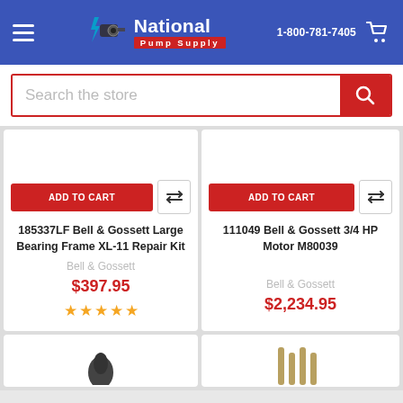National Pump Supply — 1-800-781-7405
[Figure (screenshot): Search bar with red border and red search button with magnifying glass icon]
[Figure (screenshot): Product card: 185337LF Bell & Gossett Large Bearing Frame XL-11 Repair Kit, $397.95, 4 stars, Add to Cart button]
[Figure (screenshot): Product card: 111049 Bell & Gossett 3/4 HP Motor M80039, $2,234.95, Add to Cart button]
[Figure (screenshot): Partial product cards at bottom of page]